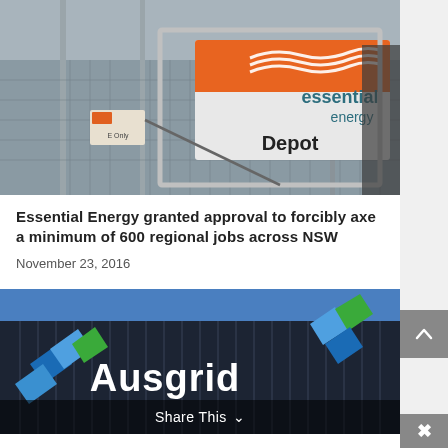[Figure (photo): Photo of Essential Energy Depot sign behind a chain-link fence with orange and white branding]
Essential Energy granted approval to forcibly axe a minimum of 600 regional jobs across NSW
November 23, 2016
[Figure (photo): Photo of Ausgrid building signage with company logo against blue sky]